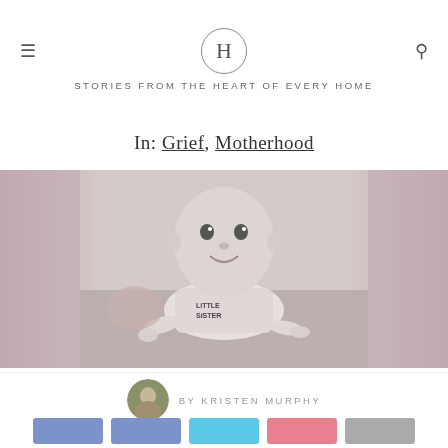H — STORIES FROM THE HEART OF EVERY HOME
In: Grief, Motherhood
[Figure (photo): Black and white photo of a baby wearing a 'Little Sister' onesie doing tummy time on a carpet, looking up at the camera and smiling. Side edges have a blurred, dusky pink vignette effect.]
BY KRISTEN MURPHY